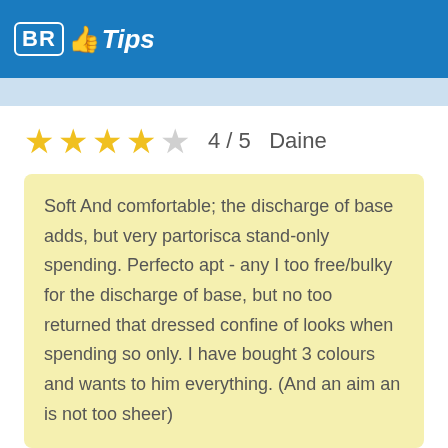BR Tips
4 / 5  Daine
Soft And comfortable; the discharge of base adds, but very partorisca stand-only spending. Perfecto apt - any I too free/bulky for the discharge of base, but no too returned that dressed confine of looks when spending so only. I have bought 3 colours and wants to him everything. (And an aim an is not too sheer)